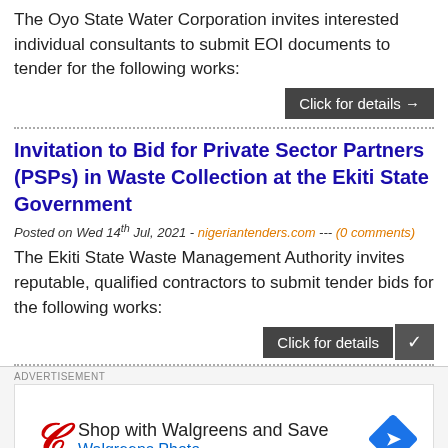The Oyo State Water Corporation invites interested individual consultants to submit EOI documents to tender for the following works:
Click for details →
Invitation to Bid for Private Sector Partners (PSPs) in Waste Collection at the Ekiti State Government
Posted on Wed 14th Jul, 2021 - nigeriantenders.com --- (0 comments)
The Ekiti State Waste Management Authority invites reputable, qualified contractors to submit tender bids for the following works:
Click for details
ADVERTISEMENT
[Figure (other): Walgreens advertisement banner: Shop with Walgreens and Save, Walgreens Photo, with Walgreens script logo and blue diamond navigation icon]